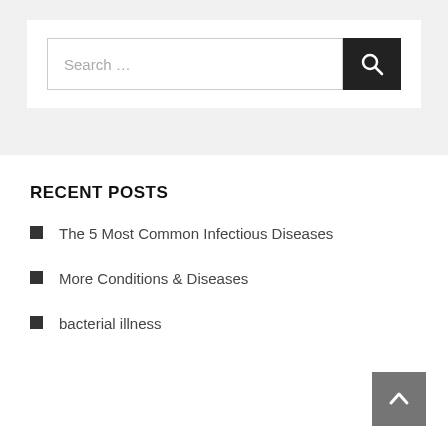[Figure (other): Search bar with text input field showing 'Search ...' placeholder and a dark search button with magnifying glass icon]
RECENT POSTS
The 5 Most Common Infectious Diseases
More Conditions & Diseases
bacterial illness